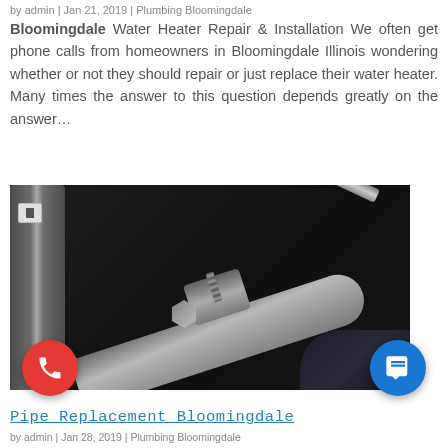by admin | Jan 21, 2019 | Plumbing Bloomingdale
Bloomingdale  Water Heater Repair & Installation We often get phone calls from homeowners in Bloomingdale Illinois wondering whether or not they should repair or just replace their water heater. Many times the answer to this question depends greatly on the answer...
[Figure (photo): Close-up photo of a metal pipe wrench tightening plumbing connections, with chrome pipes and fittings visible against a dark background. A hand in a dark glove holds the wrench.]
Pipe Replacement Bloomingdale
by admin | Jan 28, 2019 | Plumbing Bloomingdale